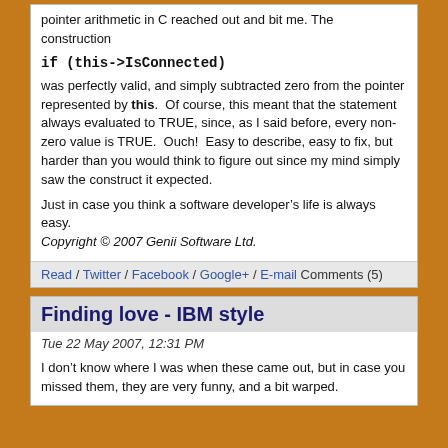pointer arithmetic in C reached out and bit me.  The construction
was perfectly valid, and simply subtracted zero from the pointer represented by this.  Of course, this meant that the statement always evaluated to TRUE, since, as I said before, every non-zero value is TRUE.  Ouch!  Easy to describe, easy to fix, but harder than you would think to figure out since my mind simply saw the construct it expected.
Just in case you think a software developer’s life is always easy.
Copyright © 2007 Genii Software Ltd.
Read / Twitter / Facebook / Google+ / E-mail Comments (5)
Finding love - IBM style
Tue 22 May 2007, 12:31 PM
I don’t know where I was when these came out, but in case you missed them, they are very funny, and a bit warped.